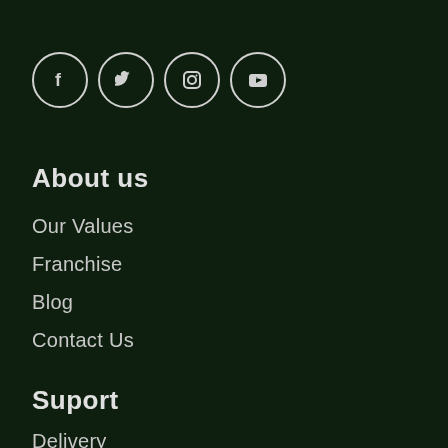[Figure (other): Social media icons: Facebook, Twitter, Instagram, YouTube — white circle outlines on dark green background]
About us
Our Values
Franchise
Blog
Contact Us
Suport
Delivery
Help